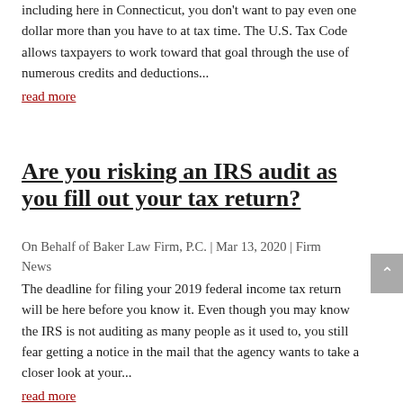including here in Connecticut, you don't want to pay even one dollar more than you have to at tax time. The U.S. Tax Code allows taxpayers to work toward that goal through the use of numerous credits and deductions...
read more
Are you risking an IRS audit as you fill out your tax return?
On Behalf of Baker Law Firm, P.C. | Mar 13, 2020 | Firm News
The deadline for filing your 2019 federal income tax return will be here before you know it. Even though you may know the IRS is not auditing as many people as it used to, you still fear getting a notice in the mail that the agency wants to take a closer look at your...
read more